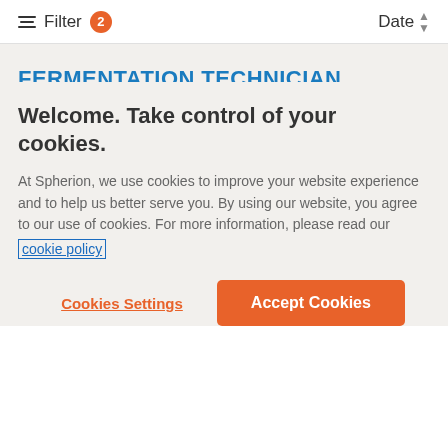Filter 2  Date
FERMENTATION TECHNICIAN
College Station, Texas
Welcome. Take control of your cookies.
At Spherion, we use cookies to improve your website experience and to help us better serve you. By using our website, you agree to our use of cookies. For more information, please read our cookie policy
Cookies Settings
Accept Cookies